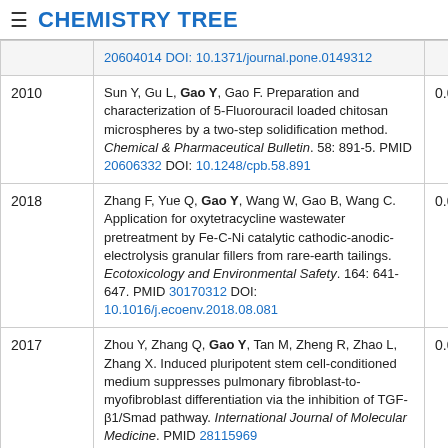≡ CHEMISTRY TREE
| Year | Reference | Score |
| --- | --- | --- |
|  | 20604014 DOI: 10.1371/journal.pone.0149312 |  |
| 2010 | Sun Y, Gu L, Gao Y, Gao F. Preparation and characterization of 5-Fluorouracil loaded chitosan microspheres by a two-step solidification method. Chemical & Pharmaceutical Bulletin. 58: 891-5. PMID 20606332 DOI: 10.1248/cpb.58.891 | 0.083 |
| 2018 | Zhang F, Yue Q, Gao Y, Wang W, Gao B, Wang C. Application for oxytetracycline wastewater pretreatment by Fe-C-Ni catalytic cathodic-anodic-electrolysis granular fillers from rare-earth tailings. Ecotoxicology and Environmental Safety. 164: 641-647. PMID 30170312 DOI: 10.1016/j.ecoenv.2018.08.081 | 0.083 |
| 2017 | Zhou Y, Zhang Q, Gao Y, Tan M, Zheng R, Zhao L, Zhang X. Induced pluripotent stem cell-conditioned medium suppresses pulmonary fibroblast-to-myofibroblast differentiation via the inhibition of TGF-β1/Smad pathway. International Journal of Molecular Medicine. PMID 28115969 | 0.083 |